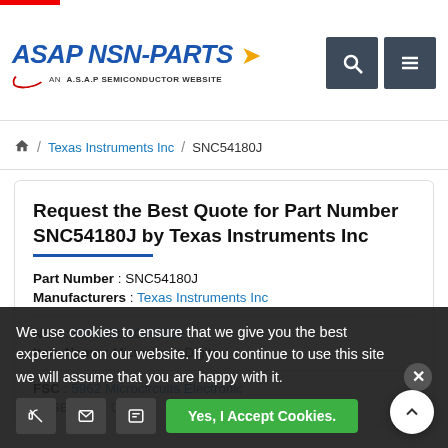ASAP NSN-PARTS — AN A.S.A.P SEMICONDUCTOR WEBSITE
Home / Texas Instruments Inc / SNC54180J
Request the Best Quote for Part Number SNC54180J by Texas Instruments Inc
Part Number : SNC54180J
Manufacturers : Texas Instruments Inc
NSN : 5962-01-106-7322
Item Name : Microcircuit Digita
FSC : 5962 Microcircuits Electronic
CAGE Code : 01295
We use cookies to ensure that we give you the best experience on our website. If you continue to use this site we will assume that you are happy with it.